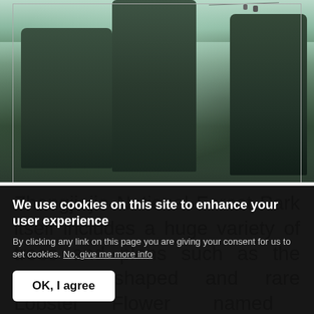[Figure (photo): Aerial photo of Zhangjiajie National Forest Park showing tall pillar-like rock formations covered in green vegetation, with mist/clouds between the pillars and a cable car visible at the top right.]
Zhangjiajie National Forest Park itself includes a huge variety of trees and plans such as the uniquely shaped and rare Lobster Flower named after its
We use cookies on this site to enhance your user experience
By clicking any link on this page you are giving your consent for us to set cookies. No, give me more info
OK, I agree